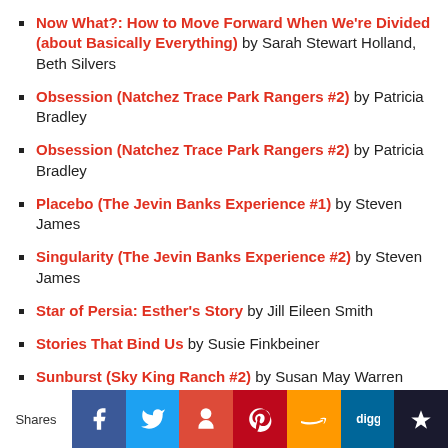Now What?: How to Move Forward When We're Divided (about Basically Everything) by Sarah Stewart Holland, Beth Silvers
Obsession (Natchez Trace Park Rangers #2) by Patricia Bradley
Obsession (Natchez Trace Park Rangers #2) by Patricia Bradley
Placebo (The Jevin Banks Experience #1) by Steven James
Singularity (The Jevin Banks Experience #2) by Steven James
Star of Persia: Esther's Story by Jill Eileen Smith
Stories That Bind Us by Susie Finkbeiner
Sunburst (Sky King Ranch #2) by Susan May Warren
Sunrise (Sky King Ranch #1) by Susan May Warren
Bishop, The (Bowers Files #4) by Steven James
Shares | Facebook | Twitter | Google+ | Pinterest | Amazon | Digg | Su